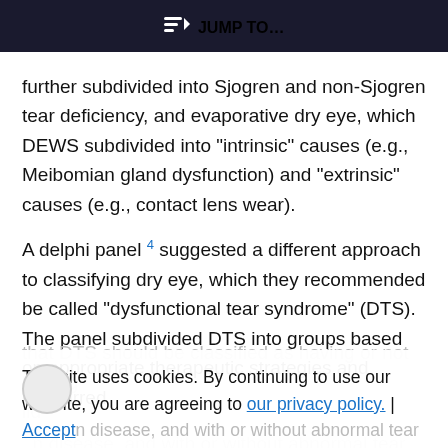JUMP TO...
further subdivided into Sjogren and non-Sjogren tear deficiency, and evaporative dry eye, which DEWS subdivided into “intrinsic” causes (e.g., Meibomian gland dysfunction) and “extrinsic” causes (e.g., contact lens wear).
A delphi panel 4 suggested a different approach to classifying dry eye, which they recommended be called “dysfunctional tear syndrome” (DTS). The panel subdivided DTS into groups based on appropriate therapeutic strategies and concurred that DTS should be classified as having or not having lid disease, and with or without abnormal tear
This site uses cookies. By continuing to use our website, you are agreeing to our privacy policy. Accept